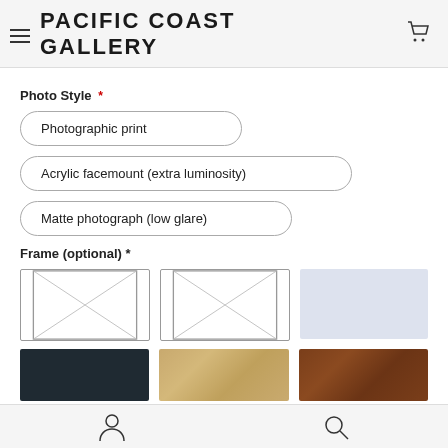PACIFIC COAST GALLERY
Photo Style *
Photographic print
Acrylic facemount (extra luminosity)
Matte photograph (low glare)
Frame (optional) *
[Figure (illustration): Three frame option swatches: two framed rectangle placeholders with X cross marks, and one light grey solid swatch]
[Figure (illustration): Three frame color swatches: dark charcoal/black, maple wood, and walnut wood]
Account and Search icons